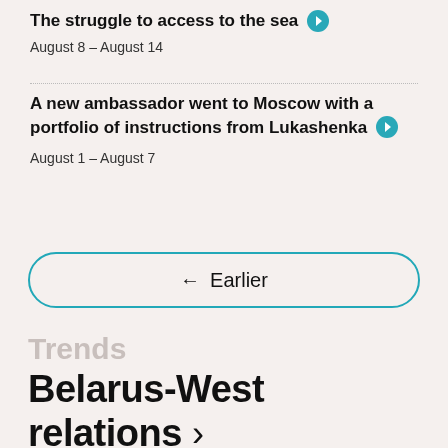The struggle to access to the sea →
August 8 – August 14
A new ambassador went to Moscow with a portfolio of instructions from Lukashenka →
August 1 – August 7
← Earlier
Trends
Belarus-West relations >